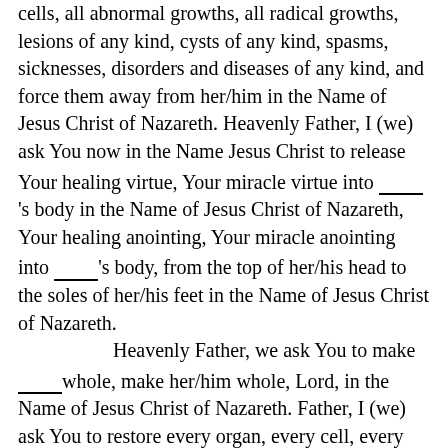cells, all abnormal growths, all radical growths, lesions of any kind, cysts of any kind, spasms, sicknesses, disorders and diseases of any kind, and force them away from her/him in the Name of Jesus Christ of Nazareth. Heavenly Father, I (we) ask You now in the Name Jesus Christ to release Your healing virtue, Your miracle virtue into ____'s body in the Name of Jesus Christ of Nazareth, Your healing anointing, Your miracle anointing into ____'s body, from the top of her/his head to the soles of her/his feet in the Name of Jesus Christ of Nazareth.

    Heavenly Father, we ask You to make ____whole, make her/him whole, Lord, in the Name of Jesus Christ of Nazareth. Father, I (we) ask You to restore every organ, every cell, every gland, every muscle, every ligament, every bone in her/his body and bring everything in total alignment, complete alignment, the way you created her/him, in the Name of Jesus Christ of Nazareth. Heavenly Father, I (we) apply the Blood of Jesus over every organ, every cell, every gland, every muscle, every ligament, every bone in her/his body